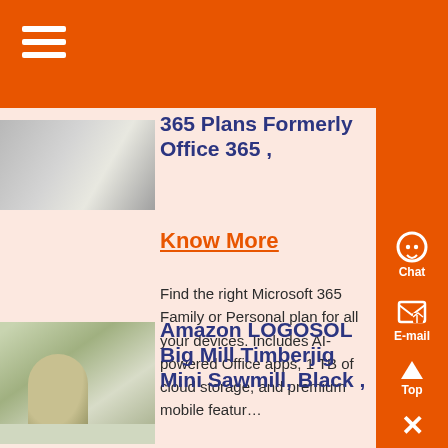[Figure (screenshot): Orange top navigation bar with hamburger menu icon (three white lines)]
[Figure (photo): Industrial equipment or building, grayish tones, partially visible]
365 Plans Formerly Office 365 ,
Know More
Find the right Microsoft 365 Family or Personal plan for all your devices. Includes AI-powered Office apps, 1 TB of cloud storage, and premium mobile featur…
[Figure (photo): Industrial mill or sawmill equipment, tan/green colored machinery outdoors]
Amazon LOGOSOL Big Mill Timberjig Mini Sawmill, Black ,
[Figure (other): Right sidebar with orange background showing Chat, E-mail, Top, and close (×) icons]